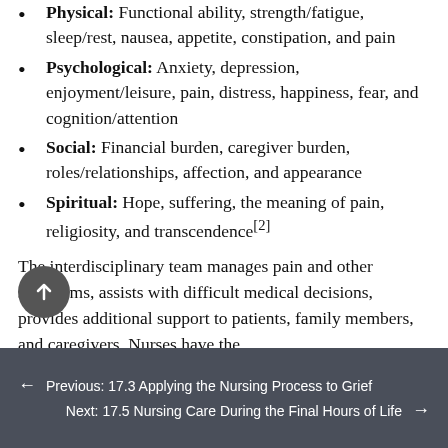Physical: Functional ability, strength/fatigue, sleep/rest, nausea, appetite, constipation, and pain
Psychological: Anxiety, depression, enjoyment/leisure, pain, distress, happiness, fear, and cognition/attention
Social: Financial burden, caregiver burden, roles/relationships, affection, and appearance
Spiritual: Hope, suffering, the meaning of pain, religiosity, and transcendence[2]
The interdisciplinary team manages pain and other symptoms, assists with difficult medical decisions, provides additional support to patients, family members, and caregivers. Nurses have the
Previous: 17.3 Applying the Nursing Process to Grief
Next: 17.5 Nursing Care During the Final Hours of Life